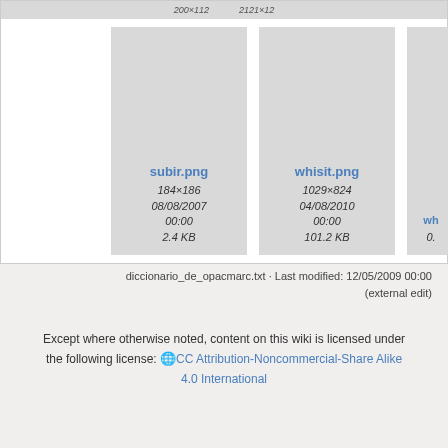[Figure (screenshot): Thumbnail gallery showing image files: subir.png (184×186, 08/08/2007 00:00, 2.4 KB), whisit.png (1029×824, 04/08/2010 00:00, 101.2 KB), and a partially visible third thumbnail]
diccionario_de_opacmarc.txt · Last modified: 12/05/2009 00:00 (external edit)
Except where otherwise noted, content on this wiki is licensed under the following license: 🌐 CC Attribution-Noncommercial-Share Alike 4.0 International